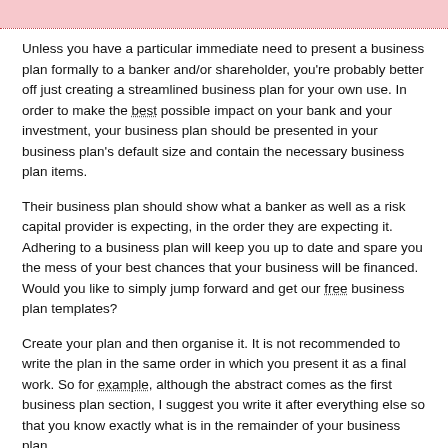Unless you have a particular immediate need to present a business plan formally to a banker and/or shareholder, you're probably better off just creating a streamlined business plan for your own use. In order to make the best possible impact on your bank and your investment, your business plan should be presented in your business plan's default size and contain the necessary business plan items.
Their business plan should show what a banker as well as a risk capital provider is expecting, in the order they are expecting it. Adhering to a business plan will keep you up to date and spare you the mess of your best chances that your business will be financed. Would you like to simply jump forward and get our free business plan templates?
Create your plan and then organise it. It is not recommended to write the plan in the same order in which you present it as a final work. So for example, although the abstract comes as the first business plan section, I suggest you write it after everything else so that you know exactly what is in the remainder of your business plan.